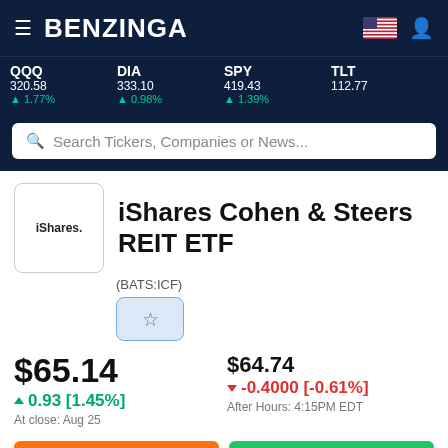BENZINGA
QQQ 320.58 ▲ 1.77%  DIA 333.10 ▲ 0.98%  SPY 419.43 ▲ 1.39%  TLT 112.77
Search Tickers, Companies or News...
iShares Cohen & Steers REIT ETF
(BATS:ICF)
$65.14
▲ 0.93 [1.45%]
At close: Aug 25
$64.74
▼ -0.4000 [-0.61%]
After Hours: 4:15PM EDT